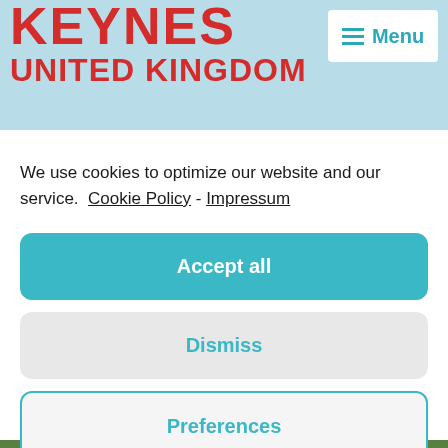KEYNES
UNITED KINGDOM
We use cookies to optimize our website and our service.  Cookie Policy -  Impressum
Accept all
Dismiss
Preferences